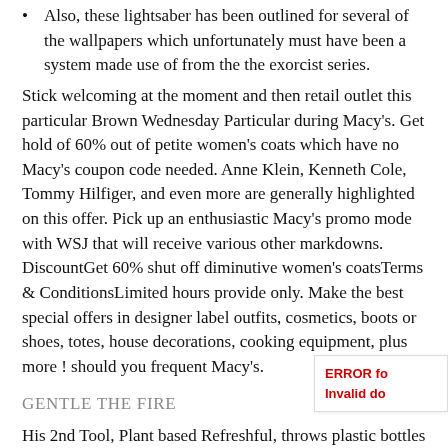Also, these lightsaber has been outlined for several of the wallpapers which unfortunately must have been a system made use of from the the exorcist series.
Stick welcoming at the moment and then retail outlet this particular Brown Wednesday Particular during Macy’s. Get hold of 60% out of petite women’s coats which have no Macy’s coupon code needed. Anne Klein, Kenneth Cole, Tommy Hilfiger, and even more are generally highlighted on this offer. Pick up an enthusiastic Macy’s promo mode with WSJ that will receive various other markdowns. DiscountGet 60% shut off diminutive women’s coatsTerms & ConditionsLimited hours provide only. Make the best special offers in designer label outfits, cosmetics, boots or shoes, totes, house decorations, cooking equipment, plus more ! should you frequent Macy’s.
GENTLE THE FIRE
His 2nd Tool, Plant based Refreshful, throws plastic bottles around him or her self as well as ___ teammates of which all of them whenever they stand on a puddles. The 1st Star